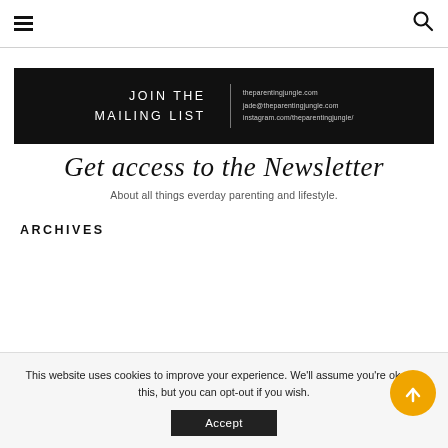☰  🔍
[Figure (other): Black banner reading JOIN THE MAILING LIST with website, email, and instagram contact details on the right]
Get access to the Newsletter
About all things everday parenting and lifestyle.
ARCHIVES
This website uses cookies to improve your experience. We'll assume you're ok with this, but you can opt-out if you wish.
Accept